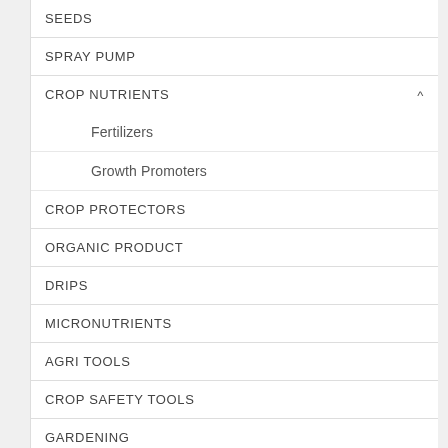SEEDS
SPRAY PUMP
CROP NUTRIENTS
Fertilizers
Growth Promoters
CROP PROTECTORS
ORGANIC PRODUCT
DRIPS
MICRONUTRIENTS
AGRI TOOLS
CROP SAFETY TOOLS
GARDENING